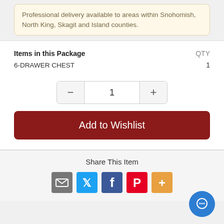Professional delivery available to areas within Snohomish, North King, Skagit and Island counties.
| Items in this Package | QTY |
| --- | --- |
| 6-DRAWER CHEST | 1 |
1
Add to Wishlist
Share This Item
[Figure (infographic): Social share icons: email, Twitter, Facebook, Pinterest, more]